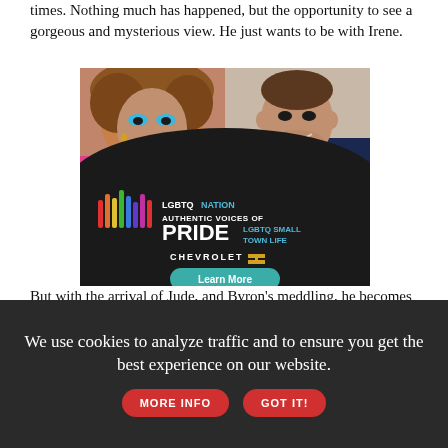times. Nothing much has happened, but the opportunity to see a gorgeous and mysterious view. He just wants to be with Irene.
[Figure (photo): Advertisement for LGBTQ Nation 'Authentic Voices of Pride: LGBTQ Small Town Life' sponsored by Chevrolet. Features two people (one with big curly hair and colorful makeup, one a younger man). Dark background with rainbow sound-wave bars, bold PRIDE text, Chevrolet bowtie logo, and a teal 'Learn More' button.]
But with the arrival of Jude, and Byron's meddling, he becomes so protective of his family that he sometimes loses his way and can't
We use cookies to analyze traffic and to ensure you get the best experience on our website.
MORE INFO
GOT IT!